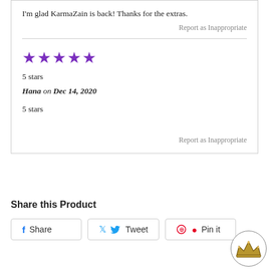I'm glad KarmaZain is back! Thanks for the extras.
Report as Inappropriate
[Figure (other): 5 purple star rating icons]
5 stars
Hana on Dec 14, 2020
5 stars
Report as Inappropriate
Share this Product
Share   Tweet   Pin it
[Figure (logo): Crown logo in a circle]